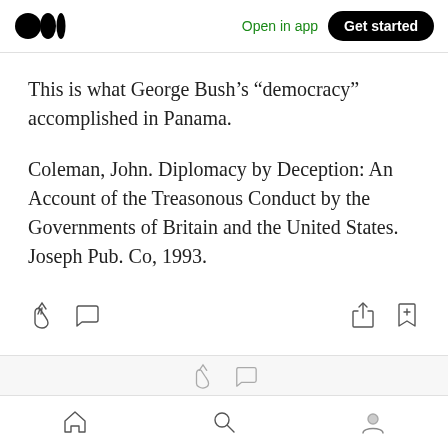Open in app  Get started
This is what George Bush’s “democracy” accomplished in Panama.
Coleman, John. Diplomacy by Deception: An Account of the Treasonous Conduct by the Governments of Britain and the United States. Joseph Pub. Co, 1993.
[Figure (screenshot): Medium app UI action bar with clap, comment, share, and bookmark icons]
[Figure (screenshot): Partially visible bottom notification bar with clap and comment icons]
Home  Search  Profile